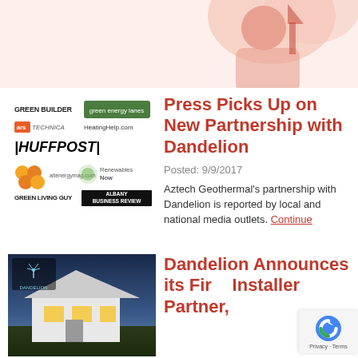[Figure (illustration): Top banner with decorative illustration on peach/cream background — partial figure visible at top]
[Figure (illustration): Grid of media outlet logos: Green Builder, green energy lanes, ars technica, HeatingHelp.com, HUFFPOST, altenergymag, Renewables Now, GREEN LIVING GUY, Albany Business Review]
Press Picks Up on New Partnership with Dandelion
Posted: 9/9/2017
Aztech Geothermal's partnership with Dandelion is reported by local and national media outlets. Continue
[Figure (photo): Photo of a modern white house with warm interior lighting at dusk/evening, with Dandelion Energy logo overlay]
Dandelion Announces its First Installer Partner,